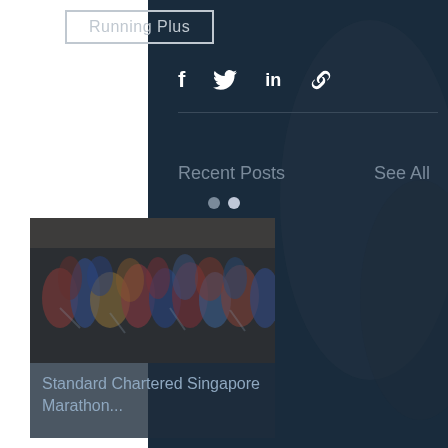Running Plus
[Figure (other): Social share icons: Facebook (f), Twitter (bird), LinkedIn (in), Link/chain icon]
[Figure (other): Background dark overlay with athletes/runners imagery]
Recent Posts
See All
[Figure (photo): Photo of a crowd of marathon runners on a city street]
Standard Chartered Singapore Marathon...